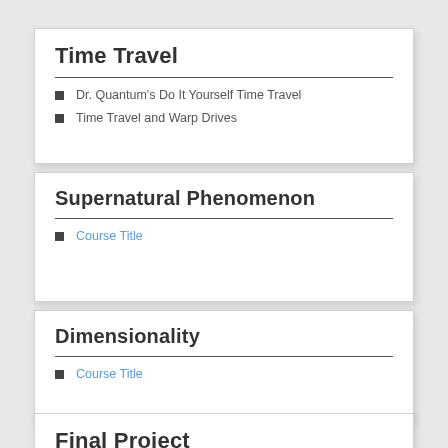Time Travel
Dr. Quantum's Do It Yourself Time Travel
Time Travel and Warp Drives
Supernatural Phenomenon
Course Title
Dimensionality
Course Title
Final Project